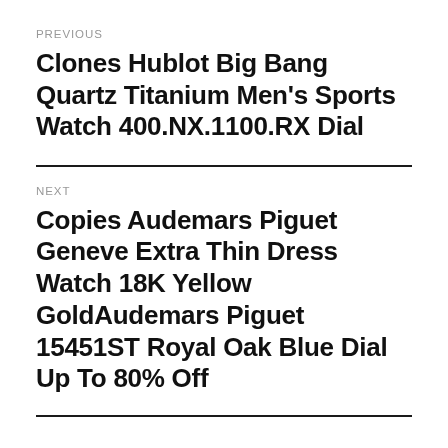PREVIOUS
Clones Hublot Big Bang Quartz Titanium Men’s Sports Watch 400.NX.1100.RX Dial
NEXT
Copies Audemars Piguet Geneve Extra Thin Dress Watch 18K Yellow GoldAudemars Piguet 15451ST Royal Oak Blue Dial Up To 80% Off